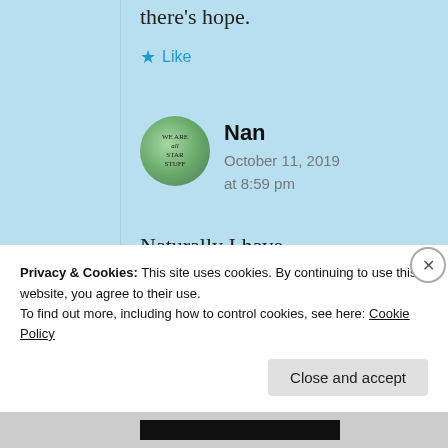there's hope.
★ Like
[Figure (illustration): Round avatar badge with green marble texture and text 'WE ARE ALL STAR STUFF']
Nan
October 11, 2019 at 8:59 pm
Naturally I have doubts about some of
Privacy & Cookies: This site uses cookies. By continuing to use this website, you agree to their use.
To find out more, including how to control cookies, see here: Cookie Policy
Close and accept